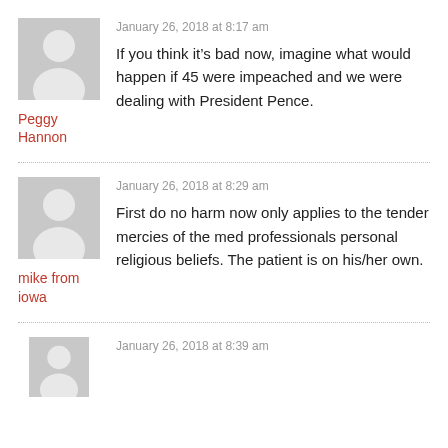[Figure (illustration): Generic grey avatar silhouette icon for user Peggy Hannon]
January 26, 2018 at 8:17 am
If you think it’s bad now, imagine what would happen if 45 were impeached and we were dealing with President Pence.
Peggy Hannon
[Figure (illustration): Generic grey avatar silhouette icon for user mike from iowa]
January 26, 2018 at 8:29 am
First do no harm now only applies to the tender mercies of the med professionals personal religious beliefs. The patient is on his/her own.
mike from iowa
[Figure (illustration): Generic grey avatar silhouette icon (partial, bottom of page)]
January 26, 2018 at 8:39 am